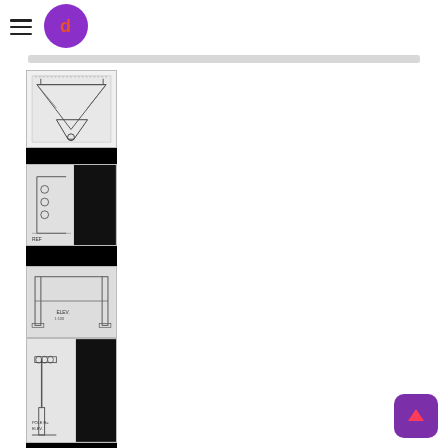Navigation header with hamburger menu and logo
[Figure (screenshot): Grey search/navigation bar]
[Figure (engineering-diagram): Engineering schematic thumbnail 1: hopper/funnel structure with support frame, top view]
[Figure (engineering-diagram): Engineering schematic thumbnail 2: mechanical part detail drawing with black background bar]
[Figure (engineering-diagram): Engineering schematic thumbnail 3: elevation/section view of structure with black header bar]
[Figure (engineering-diagram): Engineering schematic thumbnail 4: street light or pole-mounted equipment drawing with black background bar]
[Figure (engineering-diagram): Engineering schematic thumbnail 5: hopper/funnel technical drawing with hatching, with black header bar]